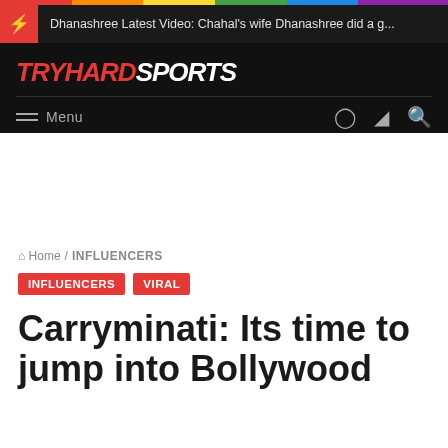Dhanashree Latest Video: Chahal's wife Dhanashree did a g...
[Figure (logo): TryHard Sports logo in red and white on black background]
Menu
Home / INFLUENCERS
INFLUENCERS  VIRAL
Carryminati: Its time to jump into Bollywood